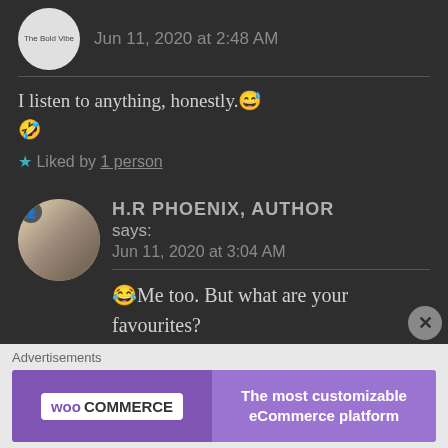Jun 11, 2020 at 2:48 AM
I listen to anything, honestly.😅🤣
★ Liked by 1 person
H.R PHOENIX, AUTHOR says:
Jun 11, 2020 at 3:04 AM
😂Me too. But what are your favourites?
Advertisements
[Figure (logo): WooCommerce advertisement banner: 'The most customizable eCommerce platform']